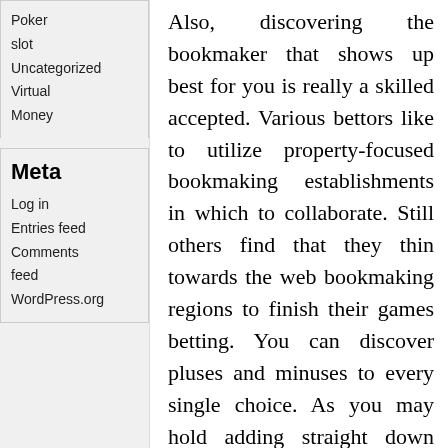Poker
slot
Uncategorized
Virtual Money
Meta
Log in
Entries feed
Comments feed
WordPress.org
Also, discovering the bookmaker that shows up best for you is really a skilled accepted. Various bettors like to utilize property-focused bookmaking establishments in which to collaborate. Still others find that they thin towards the web bookmaking regions to finish their games betting. You can discover pluses and minuses to every single choice. As you may hold adding straight down your games bets, you will work with this foundation for basically a cautious timeframe. Pick your